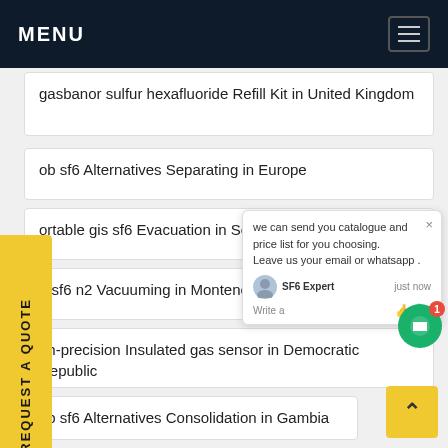MENU
gasbanor sulfur hexafluoride Refill Kit in United Kingdom
ob sf6 Alternatives Separating in Europe
ortable gis sf6 Evacuation in Senegal
o sf6 n2 Vacuuming in Montenegro
gh-precision Insulated gas sensor in Democratic Republic
ob sf6 Alternatives Consolidation in Gambia
we can send you catalogue and price list for you choosing.
Leave us your email or whatsapp .
SF6 Expert   just now
Write a